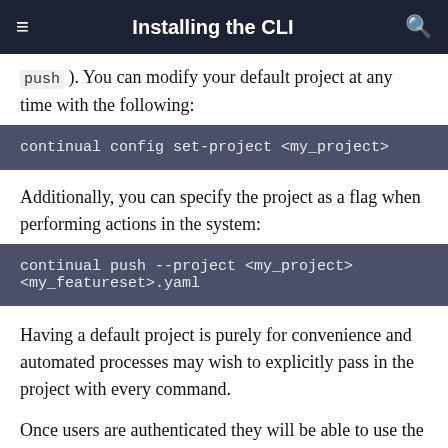Installing the CLI
push ). You can modify your default project at any time with the following:
continual config set-project <my_project>
Additionally, you can specify the project as a flag when performing actions in the system:
continual push --project <my_project> <my_featureset>.yaml
Having a default project is purely for convenience and automated processes may wish to explicitly pass in the project with every command.
Once users are authenticated they will be able to use the CLI as needed. Refer to the reference manual for more information.